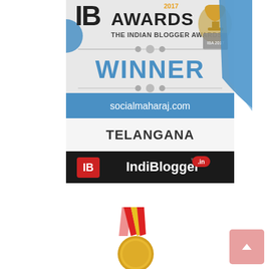[Figure (logo): IB Awards 2017 - The Indian Blogger Awards winner badge showing socialmaharaj.com as winner in Telangana category, with IndiBlogger logo and a blue ribbon decoration]
[Figure (illustration): A gold medal with red and yellow ribbon, partially visible at the bottom of the page]